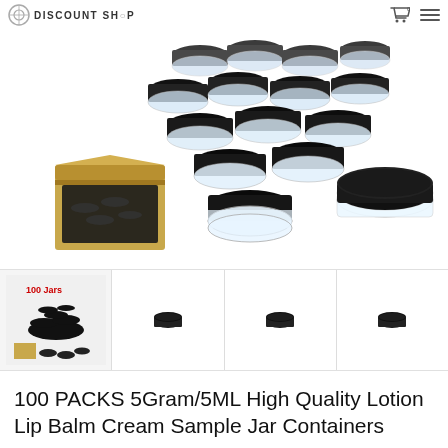[Figure (photo): Product photo showing many small clear plastic sample jars with black lids piled together, plus an open cardboard box containing black-lidded jars, and a close-up of a single jar with lid, on white background. Website header with Discount Shop logo visible at top.]
[Figure (photo): Thumbnail 1: Shows pile of 100 small black-capped clear jars with text '100 Jars' in red, plus box and individual jars below]
[Figure (photo): Thumbnail 2: Small dark container jar on white background]
[Figure (photo): Thumbnail 3: Small dark container jar on white background]
[Figure (photo): Thumbnail 4: Small dark container jar on white background]
100 PACKS 5Gram/5ML High Quality Lotion Lip Balm Cream Sample Jar Containers